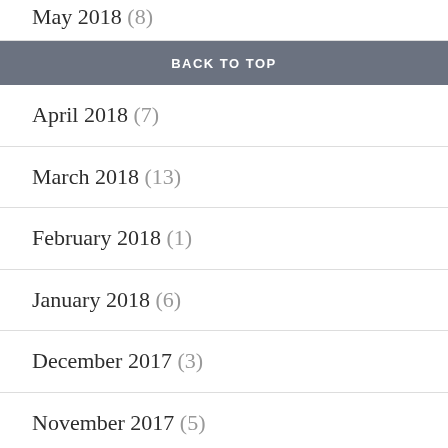May 2018 (8)
BACK TO TOP
April 2018 (7)
March 2018 (13)
February 2018 (1)
January 2018 (6)
December 2017 (3)
November 2017 (5)
October 2017 (6)
September 2017 (2)
August 2017 (2)